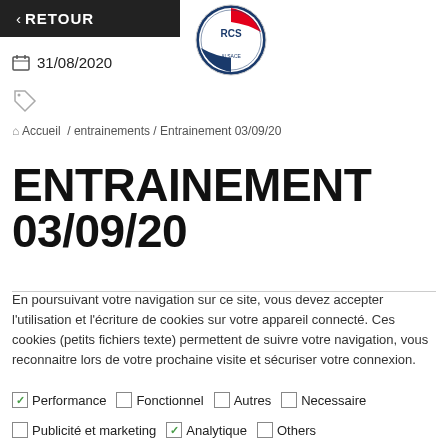< RETOUR
[Figure (logo): Racing Club de Strasbourg Alsace circular logo with blue and red colors]
31/08/2020
[Figure (other): Tag/label icon]
Accueil / entrainements / Entrainement 03/09/20
ENTRAINEMENT 03/09/20
En poursuivant votre navigation sur ce site, vous devez accepter l'utilisation et l'écriture de cookies sur votre appareil connecté. Ces cookies (petits fichiers texte) permettent de suivre votre navigation, vous reconnaitre lors de votre prochaine visite et sécuriser votre connexion.
Performance (checked), Fonctionnel (unchecked), Autres (unchecked), Necessaire (unchecked)
Publicité et marketing (unchecked), Analytique (checked), Others (unchecked)